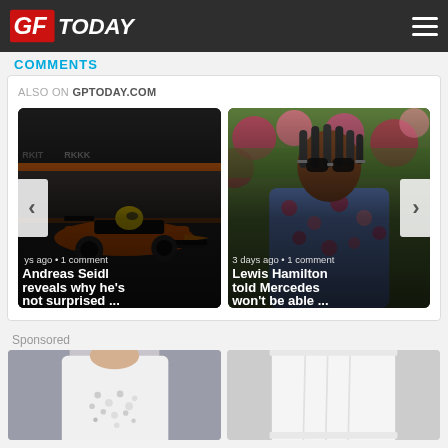GF TODAY
COMMENTS
ALSO ON GPTODAY.COM
[Figure (photo): McLaren F1 car on track — article card: 'Andreas Seidl reveals why he's not surprised ...' with meta '...ys ago • 1 comment']
[Figure (photo): Lewis Hamilton with sunglasses — article card: 'Lewis Hamilton told Mercedes won't be able ...' with meta '3 days ago • 1 comment']
Sponsored
[Figure (photo): Sponsored image 1 — person wearing white decorated top]
[Figure (photo): Sponsored image 2 — white clothing/skirt product shot]